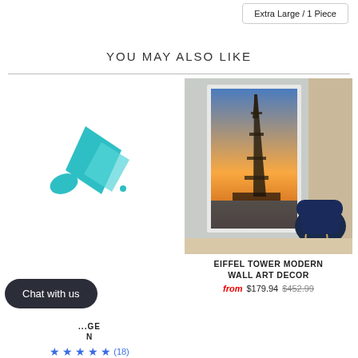Extra Large / 1 Piece
YOU MAY ALSO LIKE
[Figure (logo): Teal/cyan abstract logo with two overlapping angular shapes resembling a pen or marker nib]
[Figure (photo): Photo of a tall vertical canvas wall art showing the Eiffel Tower at sunset with blue sky and clouds, displayed in a room with a dark navy armchair and beige curtains]
Chat with us
EIFFEL TOWER MODERN WALL ART DECOR
from $179.94 $452.99
(18)